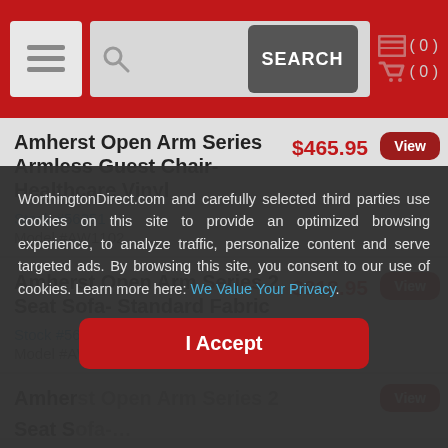Search bar with SEARCH button, hamburger menu, cart icons (0) and (0)
Amherst Open Arm Series Armless Guest Chair- Healthcare Vinyl
$465.95
Stock #56351
Model #AW1102
Amherst Open Arm Series 2 Seat Sofa- Standard Fabric
$818.95
Stock #56352
Model #AW2101
Amherst Open Arm Series 2 Seat Sofa- [partially visible] View
Amherst [partially visible] Seat S[...] Stock #5[...] Model #[...]
WorthingtonDirect.com and carefully selected third parties use cookies on this site to provide an optimized browsing experience, to analyze traffic, personalize content and serve targeted ads. By browsing this site, you consent to our use of cookies. Learn more here: We Value Your Privacy.
I Accept